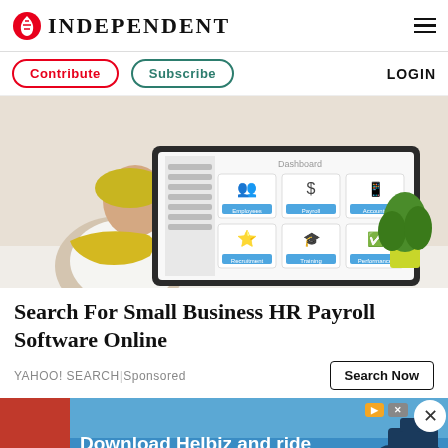INDEPENDENT
Contribute | Subscribe | LOGIN
[Figure (screenshot): Person sitting at desk looking at a computer monitor displaying an HR dashboard with icons for Employees, Payroll, Accounts, Recruitment, Training, Performance. A green plant is visible in the background.]
Search For Small Business HR Payroll Software Online
YAHOO! SEARCH | Sponsored
[Figure (photo): Advertisement banner for Helbiz with text 'Download Helbiz and ride' on a blue background showing an electric scooter.]